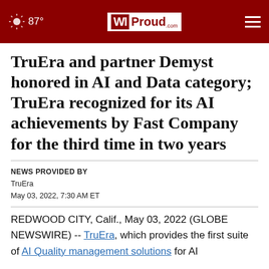87° WI Proud
TruEra and partner Demyst honored in AI and Data category; TruEra recognized for its AI achievements by Fast Company for the third time in two years
NEWS PROVIDED BY
TruEra
May 03, 2022, 7:30 AM ET
REDWOOD CITY, Calif., May 03, 2022 (GLOBE NEWSWIRE) -- TruEra, which provides the first suite of AI Quality management solutions for AI